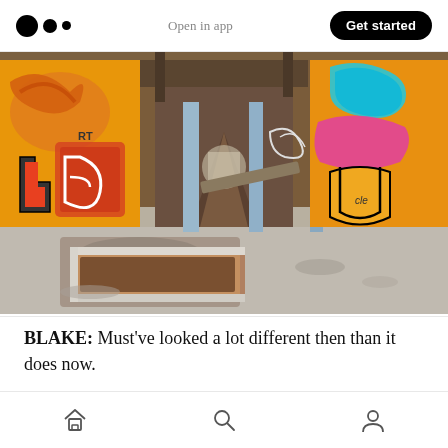Open in app  Get started
[Figure (photo): Interior of an abandoned building with graffiti-covered walls in orange, yellow, red and blue. Debris and rubble on the floor, rusted metal structures, fallen beams, and a deteriorated metal frame/box in the foreground. Hallway receding into the background.]
BLAKE: Must've looked a lot different then than it does now.
Home  Search  Profile